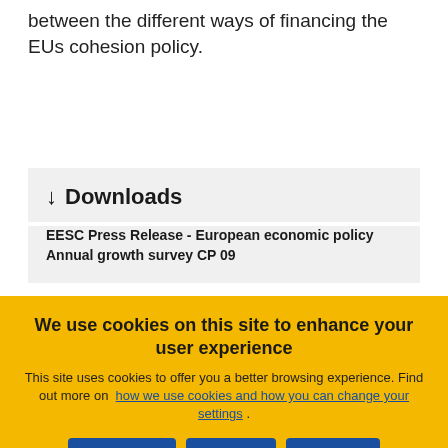between the different ways of financing the EUs cohesion policy.
↓ Downloads
EESC Press Release - European economic policy Annual growth survey CP 09
We use cookies on this site to enhance your user experience
This site uses cookies to offer you a better browsing experience. Find out more on how we use cookies and how you can change your settings .